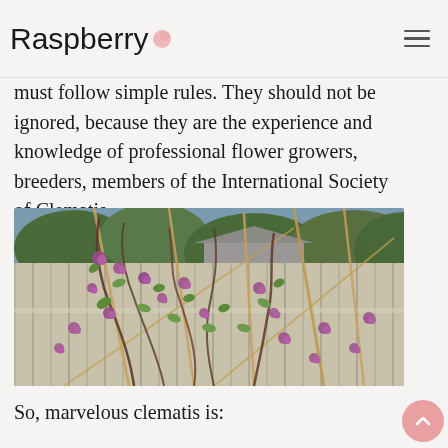Raspberry
must follow simple rules. They should not be ignored, because they are the experience and knowledge of professional flower growers, breeders, members of the International Society of Clematis.
[Figure (photo): Clematis vine with small purple/magenta flowers climbing wooden fence sticks/stakes against a wooden fence, with trees visible in background]
So, marvelous clematis is: